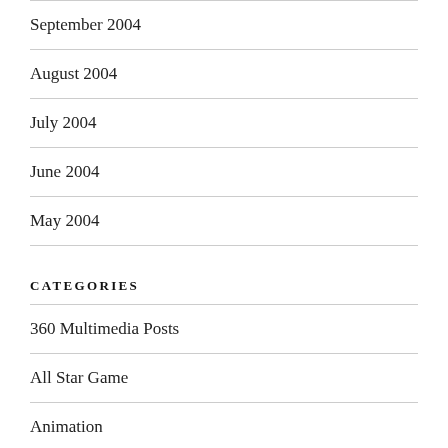September 2004
August 2004
July 2004
June 2004
May 2004
CATEGORIES
360 Multimedia Posts
All Star Game
Animation
Apple